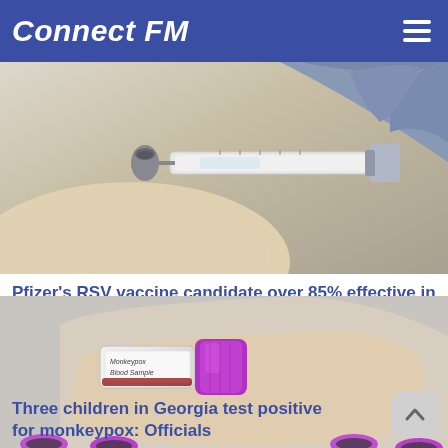Connect FM
[Figure (photo): Close-up of gloved hands drawing liquid into a syringe from a vial, medical/vaccine administration scene]
Pfizer's RSV vaccine candidate over 85% effective in older adults, data shows
[Figure (photo): Hand holding a blood sample vial labeled 'Monkeypox Blood Sample' with purple-capped test tubes in background]
Three children in Georgia test positive for monkeypox: Officials